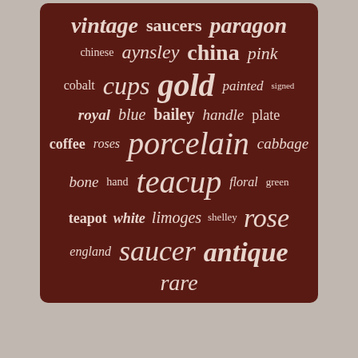[Figure (infographic): Tag cloud on dark brown background with antique/china related keywords in varying sizes: vintage, saucers, paragon, chinese, aynsley, china, pink, cobalt, cups, gold, painted, signed, royal, blue, bailey, handle, plate, coffee, roses, porcelain, cabbage, bone, hand, teacup, floral, green, teapot, white, limoges, shelley, rose, england, saucer, antique, rare]
Home
Contact Form